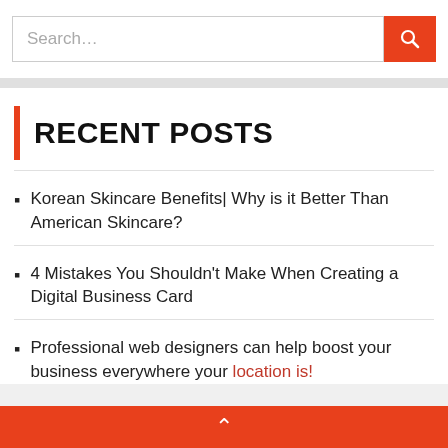Search...
RECENT POSTS
Korean Skincare Benefits| Why is it Better Than American Skincare?
4 Mistakes You Shouldn't Make When Creating a Digital Business Card
Professional web designers can help boost your business everywhere your location is!
▲